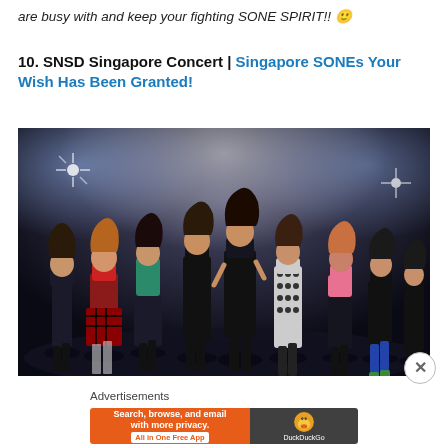are busy with and keep your fighting SONE SPIRIT!! 🙂
10. SNSD Singapore Concert | Singapore SONEs Your Wish Has Been Granted!
[Figure (photo): Group photo of SNSD (Girls' Generation) nine members posing on a dark stage with spotlights, wearing fashionable outfits ranging from red plaid to black dresses and blue jeans.]
Advertisements
[Figure (screenshot): DuckDuckGo advertisement banner: left orange section says 'Search, browse, and email with more privacy. All in One Free App', right dark section shows DuckDuckGo duck logo and name.]